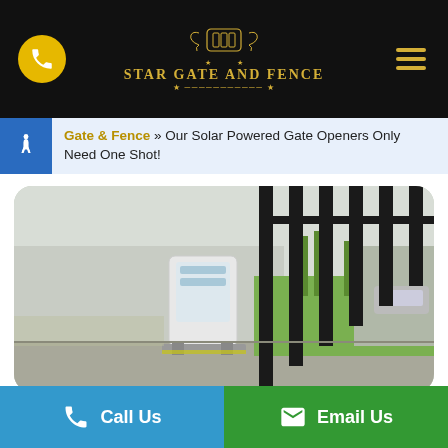Star Gate and Fence - website header with logo, phone icon, and hamburger menu
Gate & Fence » Our Solar Powered Gate Openers Only Need One Shot!
[Figure (photo): Solar powered gate opener device mounted on a wall next to a black sliding gate, with green grass and a road visible in the background.]
Call Us | Email Us